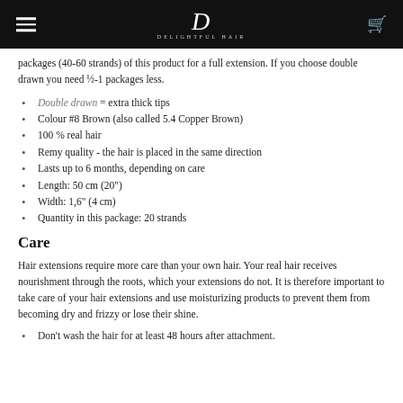Delightful Hair
packages (40-60 strands) of this product for a full extension. If you choose double drawn you need ½-1 packages less.
Double drawn = extra thick tips
Colour #8 Brown (also called 5.4 Copper Brown)
100 % real hair
Remy quality - the hair is placed in the same direction
Lasts up to 6 months, depending on care
Length: 50 cm (20")
Width: 1,6" (4 cm)
Quantity in this package: 20 strands
Care
Hair extensions require more care than your own hair. Your real hair receives nourishment through the roots, which your extensions do not. It is therefore important to take care of your hair extensions and use moisturizing products to prevent them from becoming dry and frizzy or lose their shine.
Don't wash the hair for at least 48 hours after attachment.